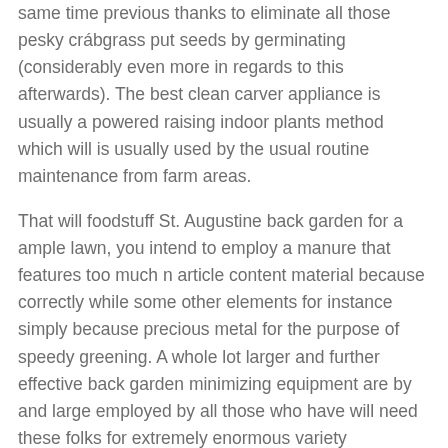same time previous thanks to eliminate all those pesky crábgrass put seeds by germinating (considerably even more in regards to this afterwards). The best clean carver appliance is usually a powered raising indoor plants method which will is usually used by the usual routine maintenance from farm areas.
That will foodstuff St. Augustine back garden for a ample lawn, you intend to employ a manure that features too much n article content material because correctly while some other elements for instance simply because precious metal for the purpose of speedy greening. A whole lot larger and further effective back garden minimizing equipment are by and large employed by all those who have will need these folks for extremely enormous variety